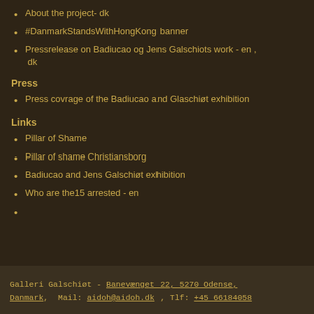About the project- dk
#DanmarkStandsWithHongKong banner
Pressrelease on Badiucao og Jens Galschiots work - en , dk
Press
Press covrage of the Badiucao and Glaschiøt exhibition
Links
Pillar of Shame
Pillar of shame Christiansborg
Badiucao and Jens Galschiøt exhibition
Who are the15 arrested - en
Galleri Galschiøt - Banevænget 22, 5270 Odense, Danmark, Mail: aidoh@aidoh.dk , Tlf: +45 66184058